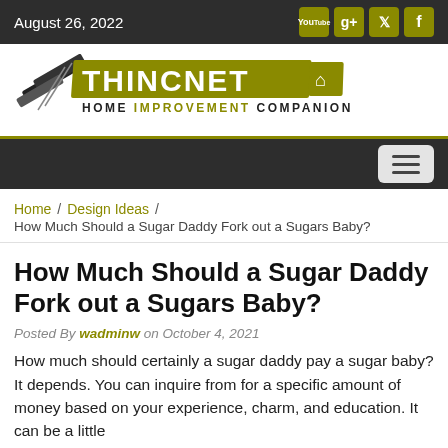August 26, 2022
[Figure (logo): IE THINCNET Home Improvement Companion logo with pencil/ruler graphic]
Home / Design Ideas / How Much Should a Sugar Daddy Fork out a Sugars Baby?
How Much Should a Sugar Daddy Fork out a Sugars Baby?
Posted By wadminw on October 4, 2021
How much should certainly a sugar daddy pay a sugar baby? It depends. You can inquire from for a specific amount of money based on your experience, charm, and education. It can be a little